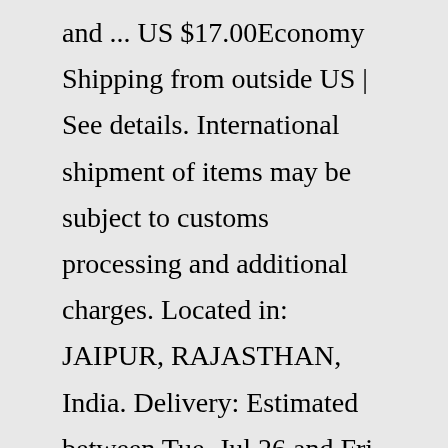and ... US $17.00Economy Shipping from outside US | See details. International shipment of items may be subject to customs processing and additional charges. Located in: JAIPUR, RAJASTHAN, India. Delivery: Estimated between Tue, Jul 26 and Fri, Aug 26 to 98837. This item has an extended handling time and a delivery estimate greater than 15 business days.Aug 14, 2016 · All about cinema: directors and